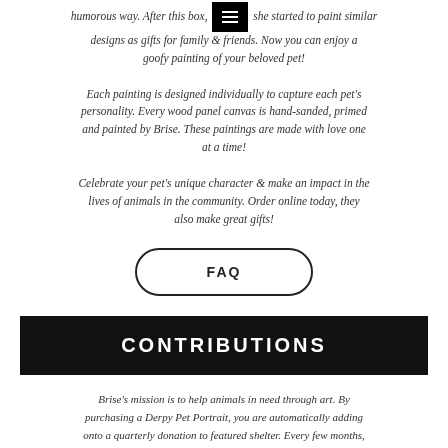humorous way. After this box, she started to paint similar designs as gifts for family & friends. Now you can enjoy a goofy painting of your beloved pet!
Each painting is designed individually to capture each pet's personality. Every wood panel canvas is hand-sanded, primed and painted by Brise. These paintings are made with love one at a time!
Celebrate your pet's unique character & make an impact in the lives of animals in the community. Order online today, they also make great gifts!
[Figure (other): FAQ button - rounded rectangle button with black border and text 'FAQ' in bold uppercase]
CONTRIBUTIONS
Brise's mission is to help animals in need through art. By purchasing a Derpy Pet Portrait, you are automatically adding onto a quarterly donation to featured shelter. Every few months, there is a new animal rescue or shelter that will assume this donation. Although, you may request to have your purchase donate to a specific shelter in the ordering process.
Current Donation Recipient